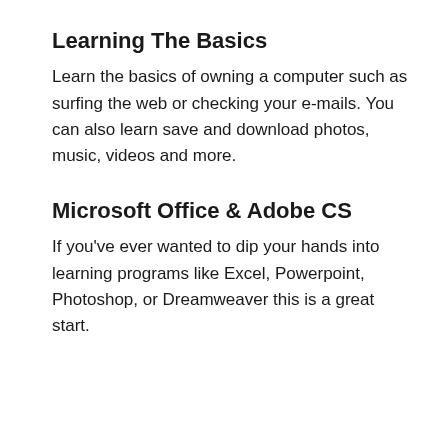Learning The Basics
Learn the basics of owning a computer such as surfing the web or checking your e-mails. You can also learn save and download photos, music, videos and more.
Microsoft Office & Adobe CS
If you've ever wanted to dip your hands into learning programs like Excel, Powerpoint, Photoshop, or Dreamweaver this is a great start.